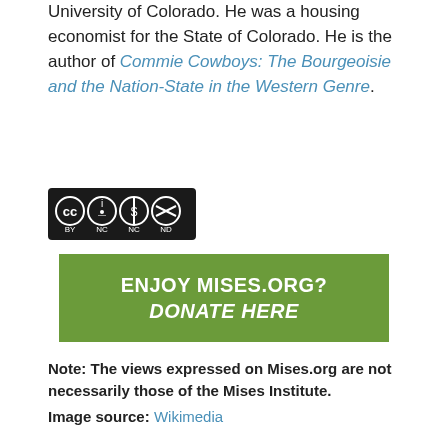University of Colorado. He was a housing economist for the State of Colorado. He is the author of Commie Cowboys: The Bourgeoisie and the Nation-State in the Western Genre.
[Figure (logo): Creative Commons BY NC ND license badge]
[Figure (other): Green donate button reading ENJOY MISES.ORG? DONATE HERE]
Note: The views expressed on Mises.org are not necessarily those of the Mises Institute.
Image source: Wikimedia
When commenting, please post a concise, civil, and informative comment. Full comment policy here
LOAD COMMENTS